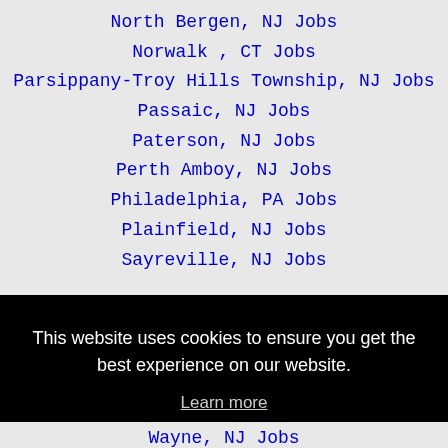North Bergen, NJ Jobs
Norwalk , CT Jobs
Parsippany-Troy Hills Township, NJ Jobs
Passaic, NJ Jobs
Paterson, NJ Jobs
Perth Amboy, NJ Jobs
Philadelphia, PA Jobs
Plainfield, NJ Jobs
Sayreville, NJ Jobs
This website uses cookies to ensure you get the best experience on our website. Learn more Got it!
Wayne, NJ Jobs